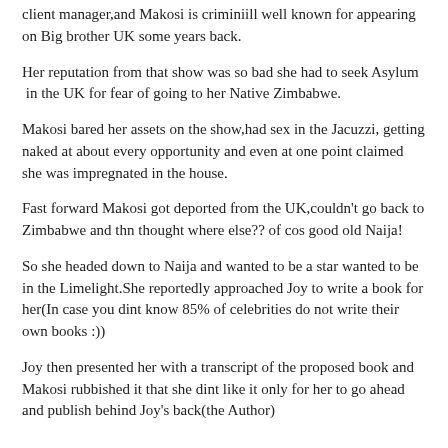client manager,and Makosi is criminiill well known for appearing on Big brother UK some years back.
Her reputation from that show was so bad she had to seek Asylum in the UK for fear of going to her Native Zimbabwe.
Makosi bared her assets on the show,had sex in the Jacuzzi, getting naked at about every opportunity and even at one point claimed she was impregnated in the house.
Fast forward Makosi got deported from the UK,couldn't go back to Zimbabwe and thn thought where else?? of cos good old Naija!
So she headed down to Naija and wanted to be a star wanted to be in the Limelight.She reportedly approached Joy to write a book for her(In case you dint know 85% of celebrities do not write their own books :))
Joy then presented her with a transcript of the proposed book and Makosi rubbished it that she dint like it only for her to go ahead and publish behind Joy's back(the Author)